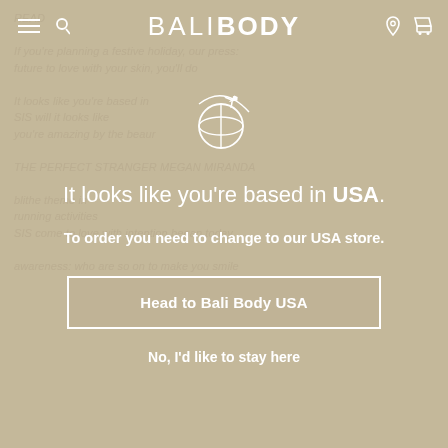BALI BODY
[Figure (illustration): Globe with airplane flying around it, white outline icon]
It looks like you're based in USA.
To order you need to change to our USA store.
Head to Bali Body USA
No, I'd like to stay here